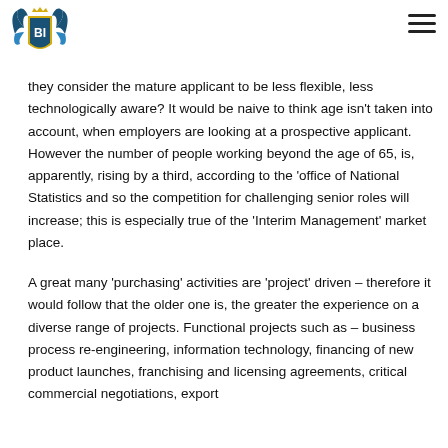[Figure (logo): BI shield logo with eagle wings and crown, gold and dark teal colors]
they consider the mature applicant to be less flexible, less technologically aware? It would be naive to think age isn't taken into account, when employers are looking at a prospective applicant. However the number of people working beyond the age of 65, is, apparently, rising by a third, according to the 'office of National Statistics and so the competition for challenging senior roles will increase; this is especially true of the 'Interim Management' market place.
A great many 'purchasing' activities are 'project' driven – therefore it would follow that the older one is, the greater the experience on a diverse range of projects. Functional projects such as – business process re-engineering, information technology, financing of new product launches, franchising and licensing agreements, critical commercial negotiations, export